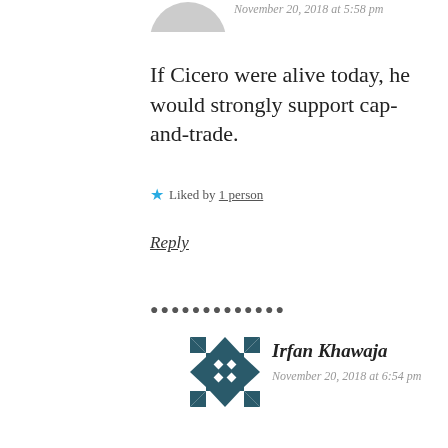November 20, 2018 at 5:58 pm
If Cicero were alive today, he would strongly support cap-and-trade.
Liked by 1 person
Reply
[Figure (other): Decorative dot divider]
[Figure (illustration): Avatar icon for Irfan Khawaja - geometric quilt pattern in dark teal]
Irfan Khawaja
November 20, 2018 at 6:54 pm